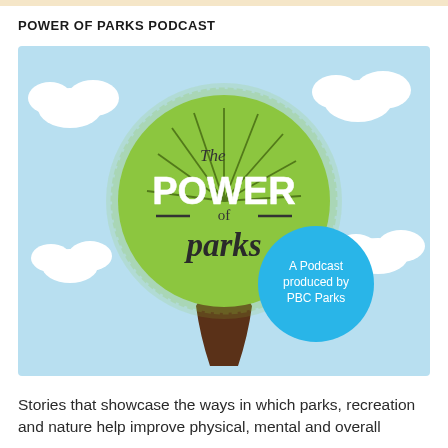POWER OF PARKS PODCAST
[Figure (illustration): Podcast cover art showing a stylized tree with a large lime-green circular canopy on a light blue sky background with white clouds. Text inside the canopy reads 'The POWER of parks'. A blue circle in the lower right of the canopy reads 'A Podcast produced by PBC Parks'. The tree trunk is dark brown.]
Stories that showcase the ways in which parks, recreation and nature help improve physical, mental and overall